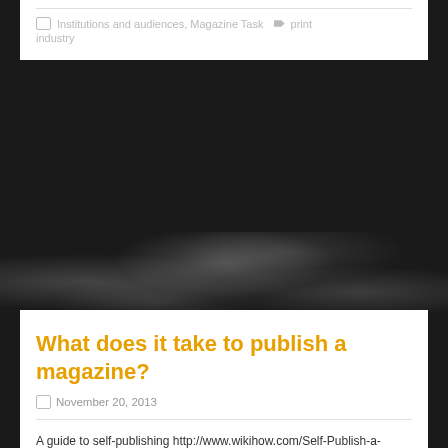Institutions and audiences, Magazine Task  print industry
What does it take to publish a magazine?
November 20, 2013
A guide to self-publishing http://www.wikihow.com/Self-Publish-a-Magazine
Institutions and audiences, Magazine Task  print industry